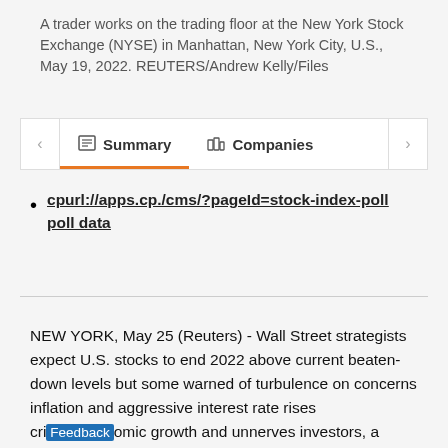A trader works on the trading floor at the New York Stock Exchange (NYSE) in Manhattan, New York City, U.S., May 19, 2022. REUTERS/Andrew Kelly/Files
[Figure (screenshot): Navigation tab bar with 'Summary' (active, underlined in orange) and 'Companies' tabs, with left and right arrow navigation buttons]
cpurl://apps.cp./cms/?pageId=stock-index-poll poll data
NEW YORK, May 25 (Reuters) - Wall Street strategists expect U.S. stocks to end 2022 above current beaten-down levels but some warned of turbulence on concerns inflation and aggressive interest rate rises cri[ple ec]omic growth and unnerves investors, a [Reuters survey found].